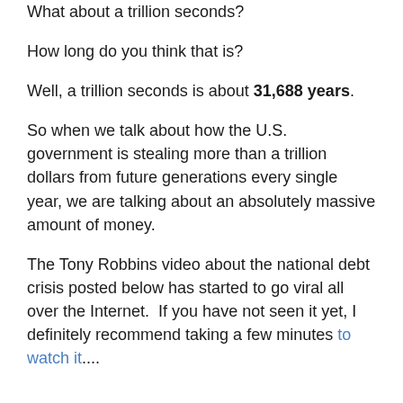What about a trillion seconds?
How long do you think that is?
Well, a trillion seconds is about 31,688 years.
So when we talk about how the U.S. government is stealing more than a trillion dollars from future generations every single year, we are talking about an absolutely massive amount of money.
The Tony Robbins video about the national debt crisis posted below has started to go viral all over the Internet.  If you have not seen it yet, I definitely recommend taking a few minutes to watch it....